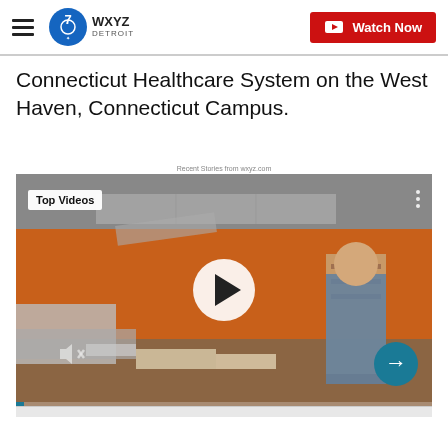WXYZ Detroit — Watch Now
Connecticut Healthcare System on the West Haven, Connecticut Campus.
Recent Stories from wxyz.com
[Figure (screenshot): Video player showing a man standing in a damaged room with orange walls, debris on the floor, ceiling tiles fallen. Overlaid with 'Top Videos' badge, a circular play button in the center, three dots menu in the top right, volume icon in the bottom left, next arrow button in the bottom right, and a progress bar at the bottom.]